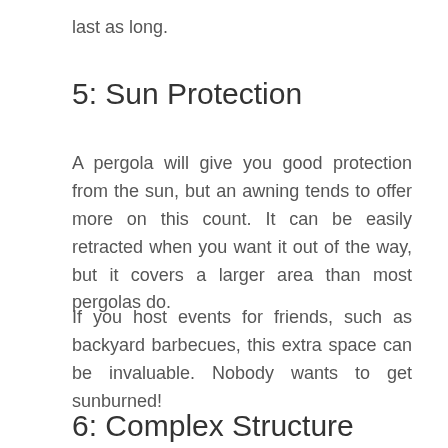last as long.
5: Sun Protection
A pergola will give you good protection from the sun, but an awning tends to offer more on this count. It can be easily retracted when you want it out of the way, but it covers a larger area than most pergolas do.
If you host events for friends, such as backyard barbecues, this extra space can be invaluable. Nobody wants to get sunburned!
6: Complex Structure